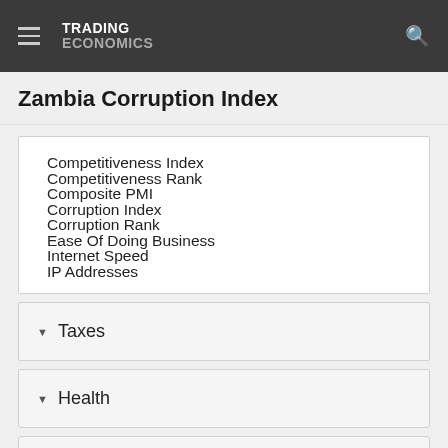TRADING ECONOMICS
Zambia Corruption Index
Competitiveness Index
Competitiveness Rank
Composite PMI
Corruption Index
Corruption Rank
Ease Of Doing Business
Internet Speed
IP Addresses
Taxes
Health
Climate